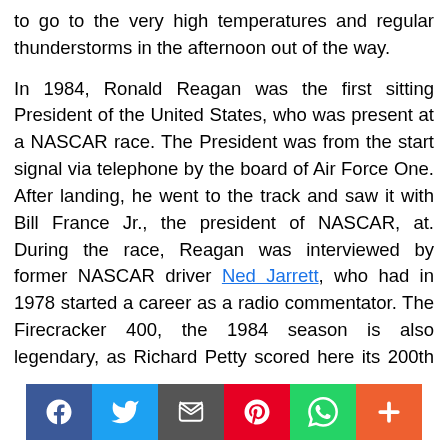to go to the very high temperatures and regular thunderstorms in the afternoon out of the way.

In 1984, Ronald Reagan was the first sitting President of the United States, who was present at a NASCAR race. The President was from the start signal via telephone by the board of Air Force One. After landing, he went to the track and saw it with Bill France Jr., the president of NASCAR, at. During the race, Reagan was interviewed by former NASCAR driver Ned Jarrett, who had in 1978 started a career as a radio commentator. The Firecracker 400, the 1984 season is also legendary, as Richard Petty scored here its 200th and last win of his career. After the race, Petty and President Reagan were interviewed together, and Reagan was present at the victory
[Figure (other): Social sharing bar with icons for Facebook, Twitter, Email, Pinterest, WhatsApp, and a plus/more button]